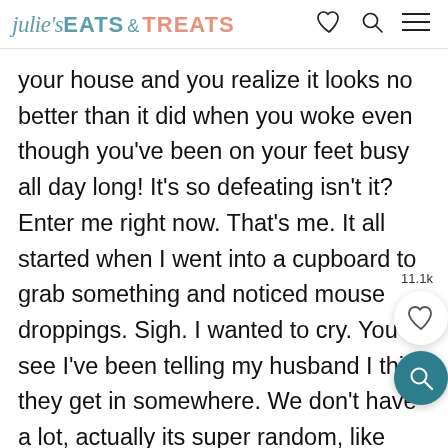julie's EATS & TREATS
your house and you realize it looks no better than it did when you woke even though you've been on your feet busy all day long! It's so defeating isn't it? Enter me right now. That's me. It all started when I went into a cupboard to grab something and noticed mouse droppings. Sigh. I wanted to cry. You see I've been telling my husband I think they get in somewhere. We don't have a lot, actually its super random, like one a year or something. But we also had a salamander in the basement this summer?!